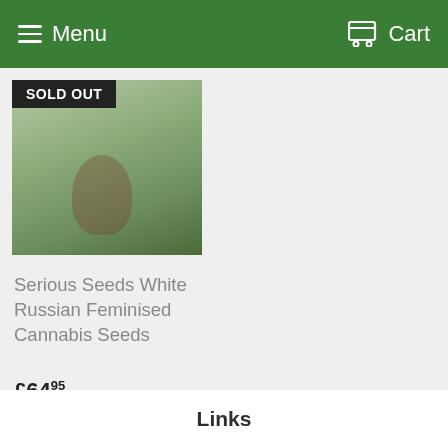Menu   Cart
[Figure (photo): Product image of cannabis plant with 'SOLD OUT' badge overlay on grey/green background]
Serious Seeds White Russian Feminised Cannabis Seeds
£64.95
Links